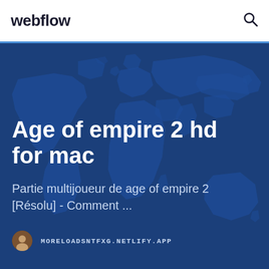webflow
Age of empire 2 hd for mac
Partie multijoueur de age of empire 2 [Résolu] - Comment ...
MORELOADSNTFXG.NETLIFY.APP